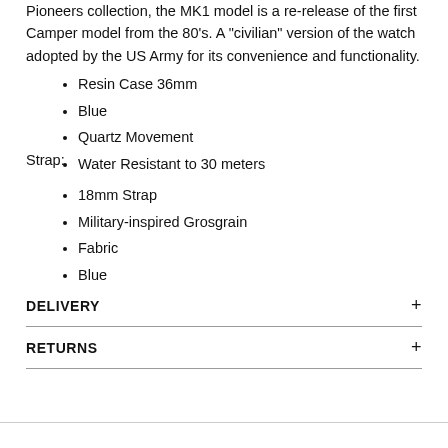Pioneers collection, the MK1 model is a re-release of the first Camper model from the 80’s. A “civilian” version of the watch adopted by the US Army for its convenience and functionality.
Resin Case 36mm
Blue
Quartz Movement
Water Resistant to 30 meters
Strap:
18mm Strap
Military-inspired Grosgrain
Fabric
Blue
DELIVERY
RETURNS